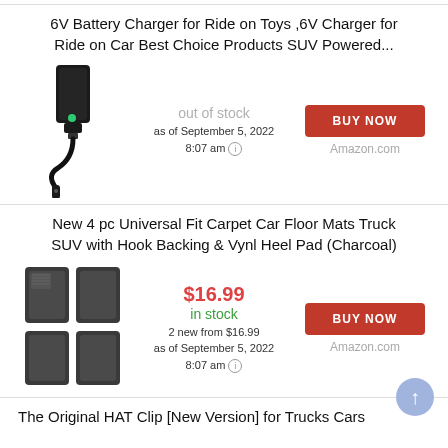6V Battery Charger for Ride on Toys ,6V Charger for Ride on Car Best Choice Products SUV Powered...
[Figure (photo): Black 6V battery charger/adapter with cable]
out of stock
as of September 5, 2022 8:07 am
BUY NOW
Amazon.com
New 4 pc Universal Fit Carpet Car Floor Mats Truck SUV with Hook Backing & Vynl Heel Pad (Charcoal)
[Figure (photo): Set of 4 charcoal grey carpet car floor mats]
$16.99
in stock
2 new from $16.99
as of September 5, 2022 8:07 am
BUY NOW
Amazon.com
The Original HAT Clip [New Version] for Trucks Cars